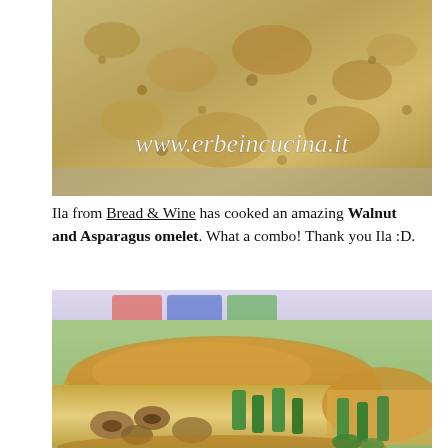[Figure (photo): Close-up photo of a walnut omelet/frittata with a watermark text 'www.erbeincucina.it' overlaid in white cursive font]
Ila from Bread & Wine has cooked an amazing Walnut and Asparagus omelet. What a combo! Thank you Ila :D.
[Figure (photo): Close-up photo of a sliced walnut and asparagus omelet on a green plate, showing the cross-section with visible asparagus spears and walnut pieces inside the egg frittata]